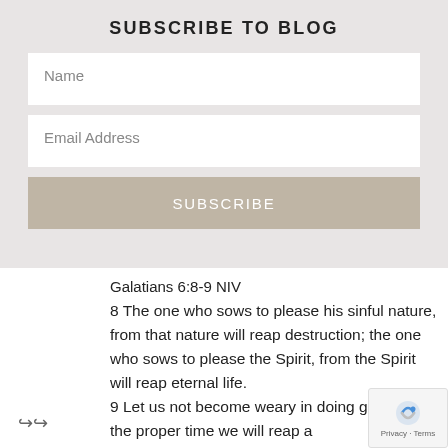SUBSCRIBE TO BLOG
Name
Email Address
SUBSCRIBE
Galatians 6:8-9 NIV
8 The one who sows to please his sinful nature, from that nature will reap destruction; the one who sows to please the Spirit, from the Spirit will reap eternal life.
9 Let us not become weary in doing good, for at the proper time we will reap a harvest if we do not give up.